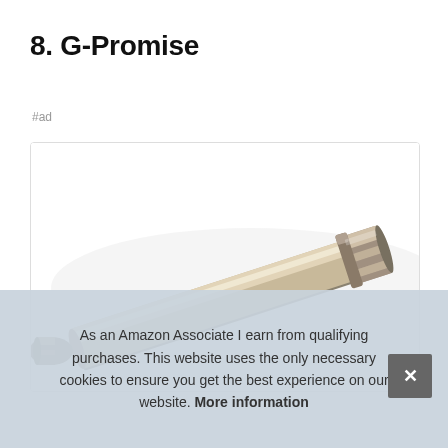8. G-Promise
#ad
[Figure (photo): A metallic brushed nickel pipe or extension tube photographed at a diagonal angle, showing threaded connector end on the right side. Product image on white background with light border card.]
As an Amazon Associate I earn from qualifying purchases. This website uses the only necessary cookies to ensure you get the best experience on our website. More information